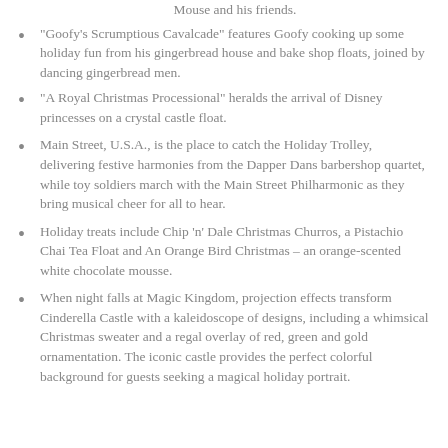Mouse and his friends.
“Goofy’s Scrumptious Cavalcade” features Goofy cooking up some holiday fun from his gingerbread house and bake shop floats, joined by dancing gingerbread men.
“A Royal Christmas Processional” heralds the arrival of Disney princesses on a crystal castle float.
Main Street, U.S.A., is the place to catch the Holiday Trolley, delivering festive harmonies from the Dapper Dans barbershop quartet, while toy soldiers march with the Main Street Philharmonic as they bring musical cheer for all to hear.
Holiday treats include Chip ‘n’ Dale Christmas Churros, a Pistachio Chai Tea Float and An Orange Bird Christmas – an orange-scented white chocolate mousse.
When night falls at Magic Kingdom, projection effects transform Cinderella Castle with a kaleidoscope of designs, including a whimsical Christmas sweater and a regal overlay of red, green and gold ornamentation. The iconic castle provides the perfect colorful background for guests seeking a magical holiday portrait.